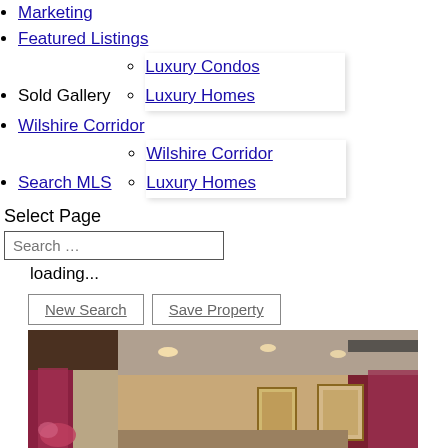Marketing
Featured Listings
Sold Gallery
Luxury Condos
Luxury Homes
Wilshire Corridor
Search MLS
Wilshire Corridor
Luxury Homes
Select Page
Search …
loading...
New Search
Save Property
[Figure (photo): Interior room photo showing a living or dining area with purple/red curtains, recessed ceiling lights, and wall artwork]